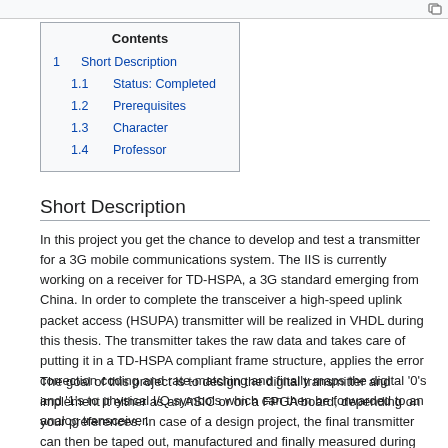| Contents |
| --- |
| 1  Short Description |
| 1.1  Status: Completed |
| 1.2  Prerequisites |
| 1.3  Character |
| 1.4  Professor |
Short Description
In this project you get the chance to develop and test a transmitter for a 3G mobile communications system. The IIS is currently working on a receiver for TD-HSPA, a 3G standard emerging from China. In order to complete the transceiver a high-speed uplink packet access (HSUPA) transmitter will be realized in VHDL during this thesis. The transmitter takes the raw data and takes care of putting it in a TD-HSPA compliant frame structure, applies the error correction coding and rate-matching and finally maps the digital '0's and '1's to physical I/Q symbols which can then be forwarded to an analog transceiver.
The goal of this project is to design the digital transmitter and implement it either as an ASIC or on a FPGA board, depending on your preferences. In case of a design project, the final transmitter can then be taped out, manufactured and finally measured during the VLSI III lecture. For an implementation on an FPGA, the resulting system (combined with the existing analog transceiver) can be tested using a protocol tester and you